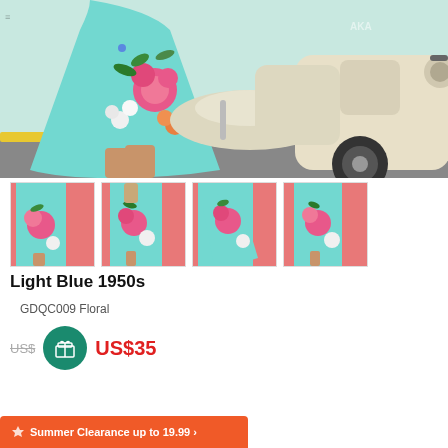[Figure (photo): Main product photo: woman wearing a light blue 1950s floral dress, posed next to a vintage cream-colored scooter/vespa. The dress features large pink and white floral print.]
[Figure (photo): Thumbnail 1: Woman in light blue floral dress, front view, standing in front of a pink/coral door.]
[Figure (photo): Thumbnail 2: Woman in light blue floral dress, back/side view showing belt, in front of coral door.]
[Figure (photo): Thumbnail 3: Woman in light blue floral dress, twirling/spinning view, in front of coral door.]
[Figure (photo): Thumbnail 4: Woman in light blue floral dress, side view, in front of coral door.]
Light Blue 1950s
GDQC009 Floral
US$35 (sale price) with strikethrough original price
Summer Clearance up to 19.99 >